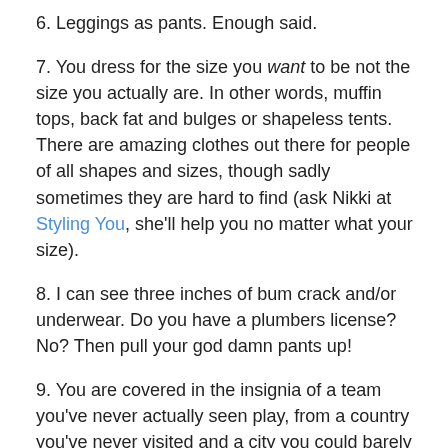6. Leggings as pants. Enough said.
7. You dress for the size you want to be not the size you actually are. In other words, muffin tops, back fat and bulges or shapeless tents. There are amazing clothes out there for people of all shapes and sizes, though sadly sometimes they are hard to find (ask Nikki at Styling You, she'll help you no matter what your size).
8. I can see three inches of bum crack and/or underwear. Do you have a plumbers license? No? Then pull your god damn pants up!
9. You are covered in the insignia of a team you've never actually seen play, from a country you've never visited and a city you could barely place on a map.
10. You are wearing clothes that could easily lead to any number of passers by mistaking you for an exotic dancer... and you're only fifteen. Now you might think that my recent birthday means I've ticked over in to the fuddy